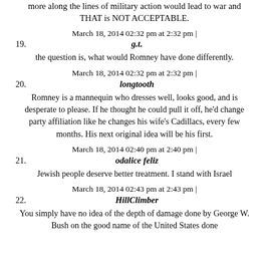more along the lines of military action would lead to war and THAT is NOT ACCEPTABLE.
March 18, 2014 02:32 pm at 2:32 pm | 19. g.t.
the question is, what would Romney have done differently.
March 18, 2014 02:32 pm at 2:32 pm | 20. longtooth
Romney is a mannequin who dresses well, looks good, and is desperate to please. If he thought he could pull it off, he'd change party affiliation like he changes his wife's Cadillacs, every few months. His next original idea will be his first.
March 18, 2014 02:40 pm at 2:40 pm | 21. odalice feliz
Jewish people deserve better treatment. I stand with Israel
March 18, 2014 02:43 pm at 2:43 pm | 22. HillClimber
You simply have no idea of the depth of damage done by George W. Bush on the good name of the United States done